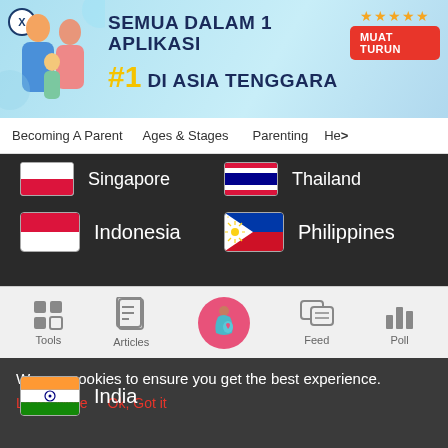[Figure (screenshot): Ad banner for a parenting app. Text: SEMUA DALAM 1 APLIKASI #1 DI ASIA TENGGARA with a MUAT TURUN button and star rating. Family illustration on left.]
Becoming A Parent   Ages & Stages   Parenting   He>
Singapore
Thailand
Indonesia
Philippines
Malaysia
India
[Figure (screenshot): Bottom navigation bar with icons: Tools (grid), Articles (clipboard), center pregnant woman icon (pink circle), Feed (chat bubbles), Poll (bar chart)]
We use cookies to ensure you get the best experience.
Learn More   Ok, Got it